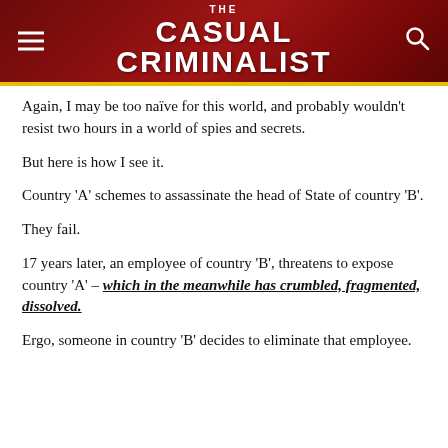THE CASUAL CRIMINALIST
Again, I may be too naïve for this world, and probably wouldn't resist two hours in a world of spies and secrets.
But here is how I see it.
Country 'A' schemes to assassinate the head of State of country 'B'.
They fail.
17 years later, an employee of country 'B', threatens to expose country 'A' – which in the meanwhile has crumbled, fragmented, dissolved.
Ergo, someone in country 'B' decides to eliminate that employee.